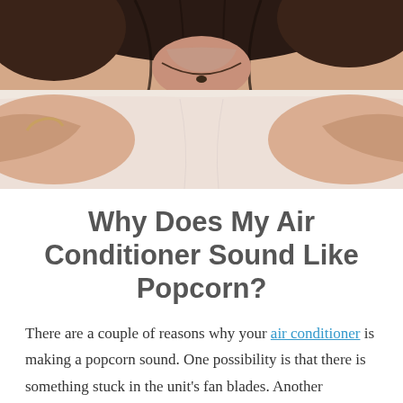[Figure (photo): Person lying down, viewed from above, wearing a white t-shirt, with dark hair visible at top, face partially obscured]
Why Does My Air Conditioner Sound Like Popcorn?
There are a couple of reasons why your air conditioner is making a popcorn sound. One possibility is that there is something stuck in the unit's fan blades. Another possibility is that the